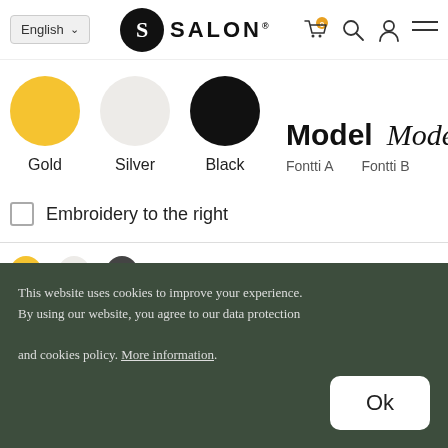English | SALON (logo) | cart | search | profile | menu
[Figure (illustration): Three color swatches: Gold (yellow circle), Silver (light gray circle), Black (black circle), followed by two font style examples labeled Fontti A (bold sans-serif Model) and Fontti B (italic serif Model)]
Embroidery to the right
[Figure (illustration): Partial view of color swatches at bottom (gold and dark circles partially visible)]
This website uses cookies to improve your experience. By using our website, you agree to our data protection and cookies policy. More information.